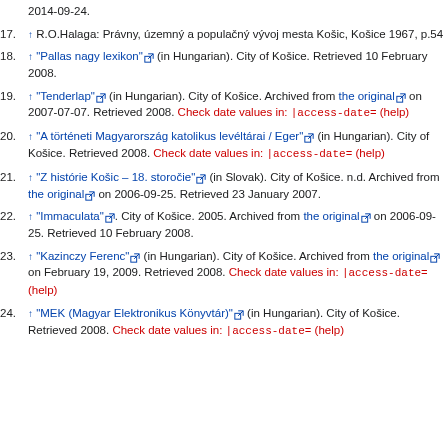2014-09-24.
17. ↑ R.O.Halaga: Právny, územný a populačný vývoj mesta Košic, Košice 1967, p.54
18. ↑ "Pallas nagy lexikon" (in Hungarian). City of Košice. Retrieved 10 February 2008.
19. ↑ "Tenderlap" (in Hungarian). City of Košice. Archived from the original on 2007-07-07. Retrieved 2008. Check date values in: |access-date= (help)
20. ↑ "A történeti Magyarország katolikus levéltárai / Eger" (in Hungarian). City of Košice. Retrieved 2008. Check date values in: |access-date= (help)
21. ↑ "Z histórie Košic – 18. storočie" (in Slovak). City of Košice. n.d. Archived from the original on 2006-09-25. Retrieved 23 January 2007.
22. ↑ "Immaculata". City of Košice. 2005. Archived from the original on 2006-09-25. Retrieved 10 February 2008.
23. ↑ "Kazinczy Ferenc" (in Hungarian). City of Košice. Archived from the original on February 19, 2009. Retrieved 2008. Check date values in: |access-date= (help)
24. ↑ "MEK (Magyar Elektronikus Könyvtár)" (in Hungarian). City of Košice. Retrieved 2008. Check date values in: |access-date= (help)